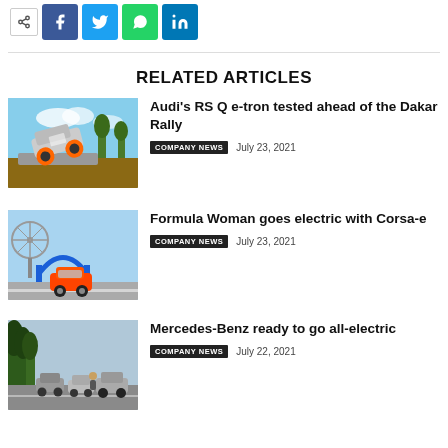[Figure (infographic): Social sharing bar with share icon, Facebook, Twitter, WhatsApp, and LinkedIn buttons]
RELATED ARTICLES
[Figure (photo): Audi RS Q e-tron rally car mid-air during testing]
Audi's RS Q e-tron tested ahead of the Dakar Rally
COMPANY NEWS  July 23, 2021
[Figure (photo): Orange Opel Corsa-e at Formula Woman electric racing event]
Formula Woman goes electric with Corsa-e
COMPANY NEWS  July 23, 2021
[Figure (photo): Mercedes-Benz all-electric vehicles on a road]
Mercedes-Benz ready to go all-electric
COMPANY NEWS  July 22, 2021